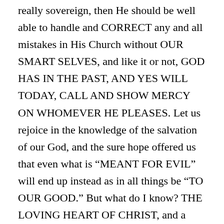really sovereign, then He should be well able to handle and CORRECT any and all mistakes in His Church without OUR SMART SELVES, and like it or not, GOD HAS IN THE PAST, AND YES WILL TODAY, CALL AND SHOW MERCY ON WHOMEVER HE PLEASES. Let us rejoice in the knowledge of the salvation of our God, and the sure hope offered us that even what is “MEANT FOR EVIL” will end up instead as in all things be “TO OUR GOOD.” But what do I know? THE LOVING HEART OF CHRIST, and a dream for a unified body FOR THAT ALONE GLORIFIES CHRIST, as a dark world looks on.